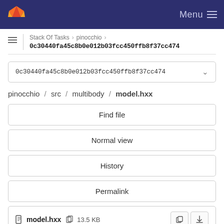[Figure (logo): GitLab fox logo in top nav bar]
Menu
Stack Of Tasks > pinocchio > 0c30440fa45c8b0e012b03fcc450ffb8f37cc474
0c30440fa45c8b0e012b03fcc450ffb8f37cc474
pinocchio / src / multibody / model.hxx
Find file
Normal view
History
Permalink
model.hxx  13.5 KB
Newer  Older